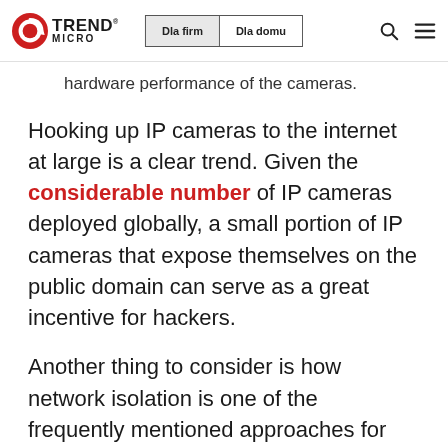Trend Micro | Dla firm | Dla domu
hardware performance of the cameras.
Hooking up IP cameras to the internet at large is a clear trend. Given the considerable number of IP cameras deployed globally, a small portion of IP cameras that expose themselves on the public domain can serve as a great incentive for hackers.
Another thing to consider is how network isolation is one of the frequently mentioned approaches for cybersecurity. Being in a local area network, though, does not guarantee the protection of IP cameras against hacking. For one thing, well-designed malware can